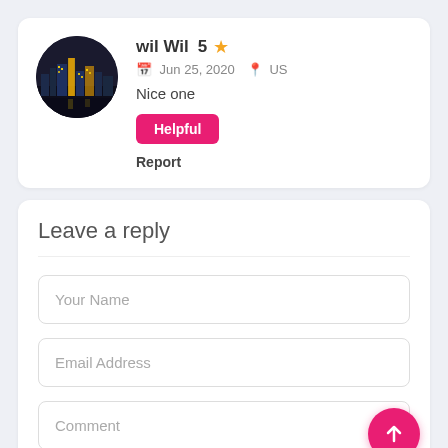[Figure (photo): Circular avatar photo of a city skyline at night with golden lights on dark background]
wil Wil  5 ★
Jun 25, 2020   US
Nice one
Helpful
Report
Leave a reply
Your Name
Email Address
Comment